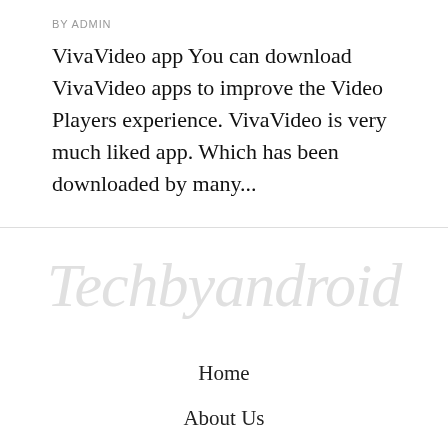BY ADMIN
VivaVideo app You can download VivaVideo apps to improve the Video Players experience. VivaVideo is very much liked app. Which has been downloaded by many...
[Figure (illustration): Watermark text reading 'Techbyandroid' in large italic gray font]
Home
About Us
Privacy Policy
Disclaimer
Contact Us